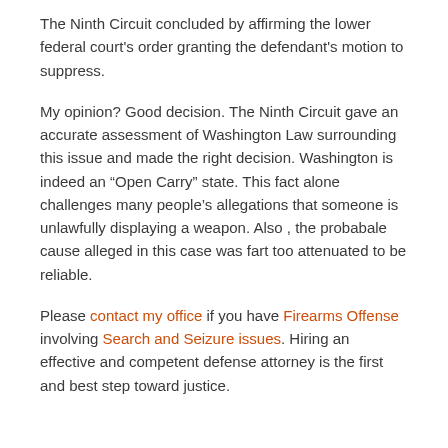The Ninth Circuit concluded by affirming the lower federal court's order granting the defendant's motion to suppress.
My opinion? Good decision. The Ninth Circuit gave an accurate assessment of Washington Law surrounding this issue and made the right decision. Washington is indeed an “Open Carry” state. This fact alone challenges many people’s allegations that someone is unlawfully displaying a weapon. Also , the probabale cause alleged in this case was fart too attenuated to be reliable.
Please contact my office if you have Firearms Offense involving Search and Seizure issues. Hiring an effective and competent defense attorney is the first and best step toward justice.